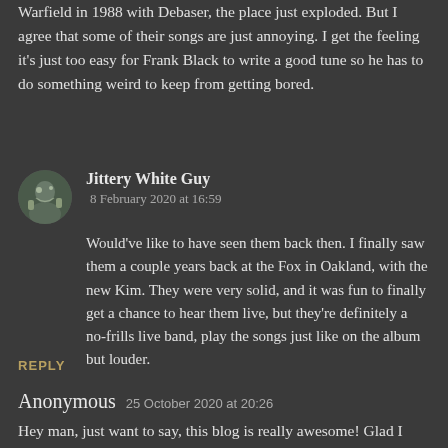Warfield in 1988 with Debaser, the place just exploded. But I agree that some of their songs are just annoying. I get the feeling it's just too easy for Frank Black to write a good tune so he has to do something weird to keep from getting bored.
Jittery White Guy
8 February 2020 at 16:59

Would've like to have seen them back then. I finally saw them a couple years back at the Fox in Oakland, with the new Kim. They were very solid, and it was fun to finally get a chance to hear them live, but they're definitely a no-frills live band, play the songs just like on the album but louder.
REPLY
Anonymous  25 October 2020 at 20:26

Hey man, just want to say, this blog is really awesome! Glad I stumbled upon it.